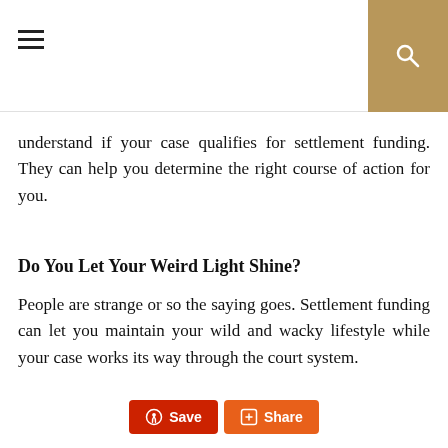[hamburger menu and search icon]
understand if your case qualifies for settlement funding. They can help you determine the right course of action for you.
Do You Let Your Weird Light Shine?
People are strange or so the saying goes. Settlement funding can let you maintain your wild and wacky lifestyle while your case works its way through the court system.
Follow us as we cover all the odd things happening in our crazy world.
[Figure (other): Social sharing buttons: Pinterest Save and Share]